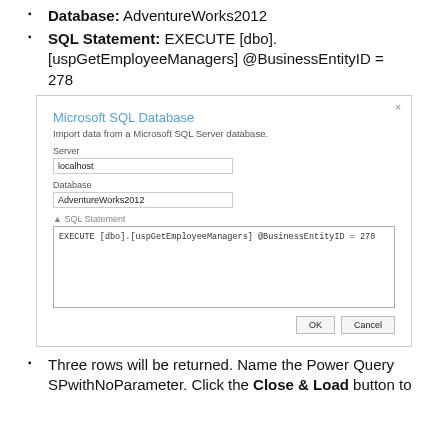Database: AdventureWorks2012
SQL Statement: EXECUTE [dbo].[uspGetEmployeeManagers] @BusinessEntityID = 278
[Figure (screenshot): Microsoft SQL Database dialog box showing Server field with 'localhost', Database field with 'AdventureWorks2012', and SQL Statement textarea containing 'EXECUTE [dbo].[uspGetEmployeeManagers] @BusinessEntityID = 278', with OK and Cancel buttons.]
Three rows will be returned. Name the Power Query SPwithNoParameter. Click the Close & Load button to